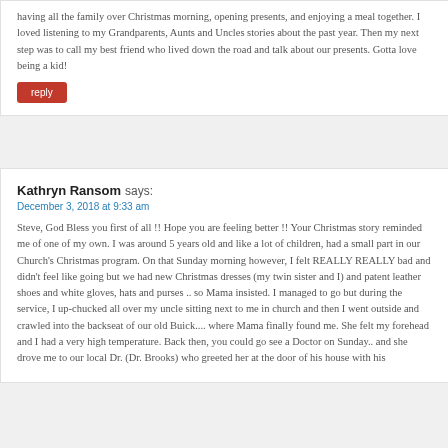having all the family over Christmas morning, opening presents, and enjoying a meal together. I loved listening to my Grandparents, Aunts and Uncles stories about the past year. Then my next step was to call my best friend who lived down the road and talk about our presents. Gotta love being a kid!
reply
Kathryn Ransom says:
December 3, 2018 at 9:33 am
Steve, God Bless you first of all !! Hope you are feeling better !! Your Christmas story reminded me of one of my own. I was around 5 years old and like a lot of children, had a small part in our Church's Christmas program. On that Sunday morning however, I felt REALLY REALLY bad and didn't feel like going but we had new Christmas dresses (my twin sister and I) and patent leather shoes and white gloves, hats and purses .. so Mama insisted. I managed to go but during the service, I up-chucked all over my uncle sitting next to me in church and then I went outside and crawled into the backseat of our old Buick.... where Mama finally found me. She felt my forehead and I had a very high temperature. Back then, you could go see a Doctor on Sunday.. and she drove me to our local Dr. (Dr. Brooks) who greeted her at the door of his house with his